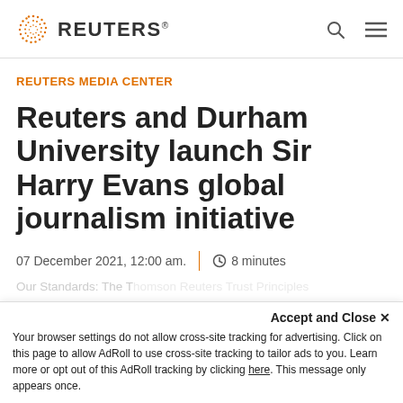REUTERS
REUTERS MEDIA CENTER
Reuters and Durham University launch Sir Harry Evans global journalism initiative
07 December 2021, 12:00 am.  |  8 minutes
Accept and Close ×
Your browser settings do not allow cross-site tracking for advertising. Click on this page to allow AdRoll to use cross-site tracking to tailor ads to you. Learn more or opt out of this AdRoll tracking by clicking here. This message only appears once.